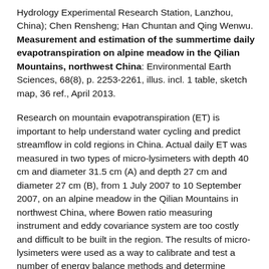Hydrology Experimental Research Station, Lanzhou, China); Chen Rensheng; Han Chuntan and Qing Wenwu. Measurement and estimation of the summertime daily evapotranspiration on alpine meadow in the Qilian Mountains, northwest China: Environmental Earth Sciences, 68(8), p. 2253-2261, illus. incl. 1 table, sketch map, 36 ref., April 2013.
Research on mountain evapotranspiration (ET) is important to help understand water cycling and predict streamflow in cold regions in China. Actual daily ET was measured in two types of micro-lysimeters with depth 40 cm and diameter 31.5 cm (A) and depth 27 cm and diameter 27 cm (B), from 1 July 2007 to 10 September 2007, on an alpine meadow in the Qilian Mountains in northwest China, where Bowen ratio measuring instrument and eddy covariance system are too costly and difficult to be built in the region. The results of micro-lysimeters were used as a way to calibrate and test a number of energy balance methods and determine